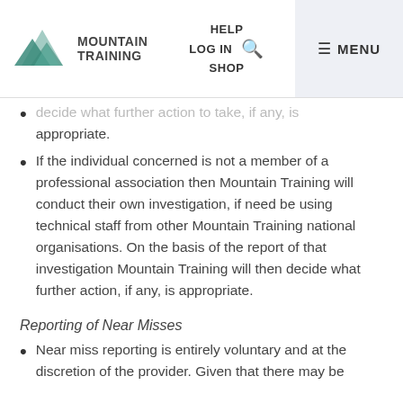Mountain Training | HELP | LOG IN | SHOP | MENU
decide what further action to take, if any, is appropriate.
If the individual concerned is not a member of a professional association then Mountain Training will conduct their own investigation, if need be using technical staff from other Mountain Training national organisations. On the basis of the report of that investigation Mountain Training will then decide what further action, if any, is appropriate.
Reporting of Near Misses
Near miss reporting is entirely voluntary and at the discretion of the provider. Given that there may be [continues below]